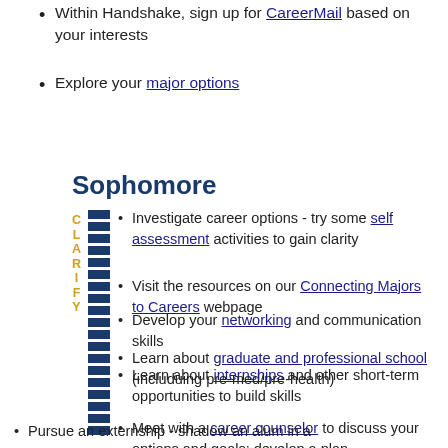Within Handshake, sign up for CareerMail based on your interests
Explore your major options
Sophomore
[Figure (infographic): Dark navy blue downward arrow with segmented/dashed shaft, with the word CLARIFY written vertically in gold/yellow letters along the left side of the arrow shaft]
Investigate career options - try some self assessment activities to gain clarity
Visit the resources on our Connecting Majors to Careers webpage
Learn about graduate and professional school (includuing pre-med/pre-health)
Meet with a career counselor to discuss your options and goals; develop a plan
Develop your networking and communication skills
Learn about internships and other short-term opportunities to build skills
Pursue an externship - shadow an alum in a